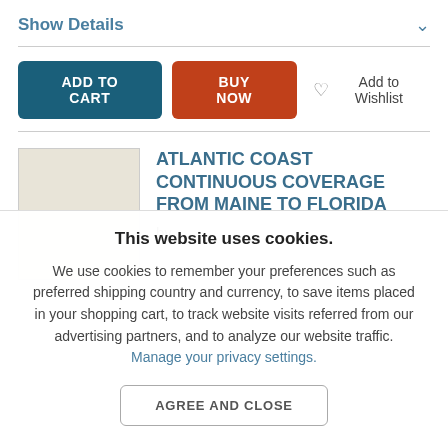Show Details
ADD TO CART
BUY NOW
Add to Wishlist
ATLANTIC COAST CONTINUOUS COVERAGE FROM MAINE TO FLORIDA
by
This website uses cookies.
We use cookies to remember your preferences such as preferred shipping country and currency, to save items placed in your shopping cart, to track website visits referred from our advertising partners, and to analyze our website traffic. Manage your privacy settings.
AGREE AND CLOSE